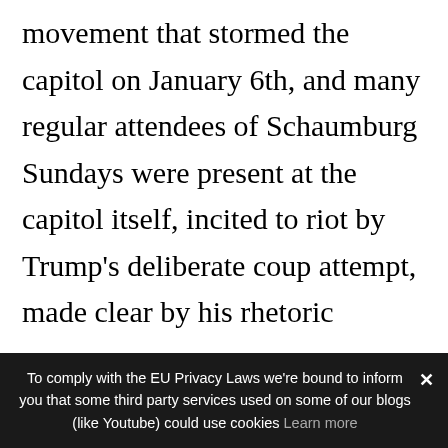movement that stormed the capitol on January 6th, and many regular attendees of Schaumburg Sundays were present at the capitol itself, incited to riot by Trump's deliberate coup attempt, made clear by his rhetoric surrounding the big lie Stop the Steal. Many of these Schaumburg attendees have been core organizers in the astroturf grift of a 'movement' who regularly traveled to DC to join the openly fascist superspreader Stop the
To comply with the EU Privacy Laws we're bound to inform you that some third party services used on some of our blogs (like Youtube) could use cookies Learn more